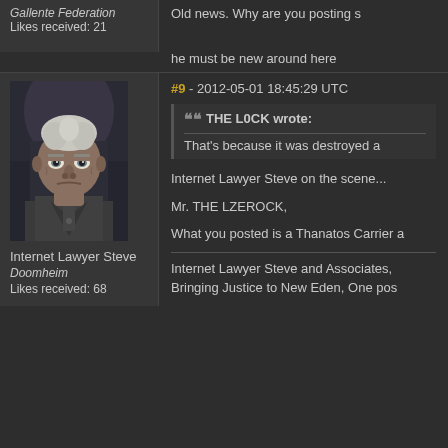Gallente Federation
Likes received: 21
Old news. Why are you posting s
he must be new around here
[Figure (illustration): Forum avatar showing an older man with white hair and stern expression, wearing a dark military-style uniform, with a futuristic background]
Internet Lawyer Steve
Doomheim
Likes received: 68
#9 - 2012-05-01 18:45:29 UTC
THE L0CK wrote:
That's because it was destroyed a
Internet Lawyer Steve on the scene...
Mr. THE LZEROCK,
What you posted is a Thanatos Carrier a
Internet Lawyer Steve and Associates,
Bringing Justice to New Eden, One pos